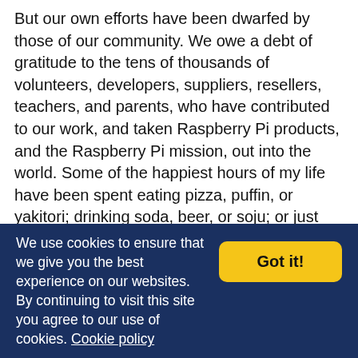But our own efforts have been dwarfed by those of our community. We owe a debt of gratitude to the tens of thousands of volunteers, developers, suppliers, resellers, teachers, and parents, who have contributed to our work, and taken Raspberry Pi products, and the Raspberry Pi mission, out into the world. Some of the happiest hours of my life have been spent eating pizza, puffin, or yakitori; drinking soda, beer, or soju; or just hanging out, with Raspberry Pi fans around the world. As the pandemic recedes, we'll be getting out there again: you're the reason we do this, and your energy drives us forward.
We use cookies to ensure that we give you the best experience on our websites. By continuing to visit this site you agree to our use of cookies. Cookie policy